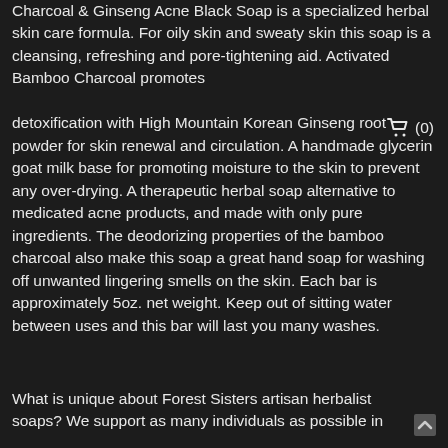Charcoal & Ginseng Acne Black Soap is a specialized herbal skin care formula. For oily skin and sweaty skin this soap is a cleansing, refreshing and pore-tightening aid. Activated Bamboo Charcoal promotes detoxification with High Mountain Korean Ginseng root powder for skin renewal and circulation. A handmade glycerin goat milk base for promoting moisture to the skin to prevent any over-drying. A therapeutic herbal soap alternative to medicated acne products, and made with only pure ingredients. The deodorizing properties of the bamboo charcoal also make this soap a great hand soap for washing off unwanted lingering smells on the skin. Each bar is approximately 5oz. net weight. Keep out of sitting water between uses and this bar will last you many washes.
What is unique about Forest Sisters artisan herbalist soaps? We support as many individuals as possible in